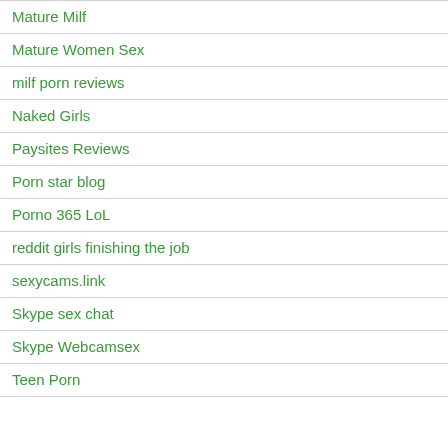Mature Milf
Mature Women Sex
milf porn reviews
Naked Girls
Paysites Reviews
Porn star blog
Porno 365 LoL
reddit girls finishing the job
sexycams.link
Skype sex chat
Skype Webcamsex
Teen Porn